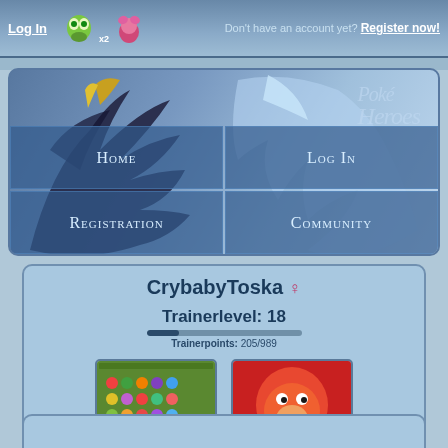Log In   Don't have an account yet? Register now!
[Figure (screenshot): Navigation banner with Pokemon artwork (Xerneas/Yveltal) on blue gradient background with PokeHeroes logo and four navigation buttons: Home, Log In, Registration, Community]
CrybabyToska ♀
Trainerlevel: 18
Trainerpoints: 205/989
[Figure (screenshot): Boxes button showing pixel art Pokemon storage boxes interface]
[Figure (screenshot): PokéDex button showing red background with Charmander pixel art]